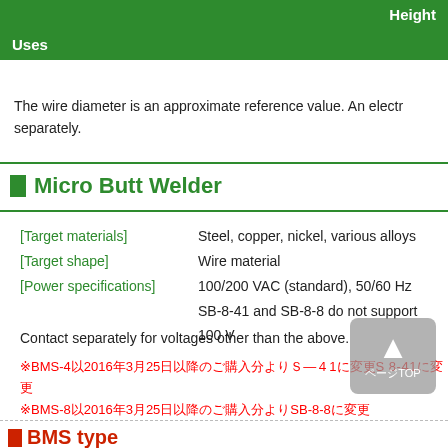|  | Height |
| --- | --- |
| Uses |  |
The wire diameter is an approximate reference value. An electr... separately.
Micro Butt Welder
[Target materials]   Steel, copper, nickel, various alloys
[Target shape]   Wire material
[Power specifications]   100/200 VAC (standard), 50/60 Hz
   SB-8-41 and SB-8-8 do not support 100 V
Contact separately for voltages other than the above.
※BMS-4以2016年3月25日以降のご購入分よりS-8-41に変更
※BMS-8以2016年3月25日以降のご購入分よりSB-8-8に変更
■BMS type